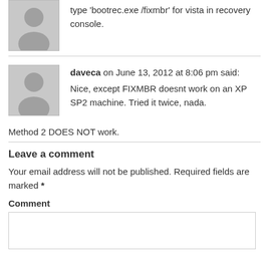[Figure (illustration): Gray avatar placeholder image for first commenter]
type 'bootrec.exe /fixmbr' for vista in recovery console.
[Figure (illustration): Gray avatar placeholder image for daveca]
daveca on June 13, 2012 at 8:06 pm said:
Nice, except FIXMBR doesnt work on an XP SP2 machine. Tried it twice, nada.
Method 2 DOES NOT work.
Leave a comment
Your email address will not be published. Required fields are marked *
Comment